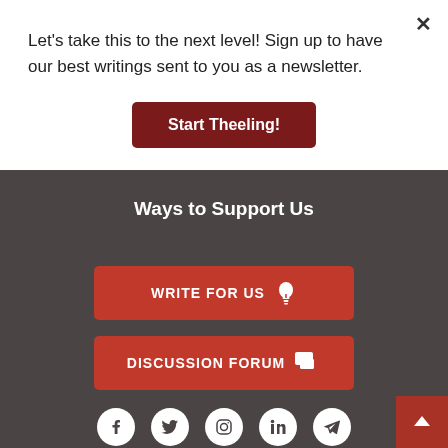Let's take this to the next level! Sign up to have our best writings sent to you as a newsletter.
[Figure (other): Dark red 'Start Theeling!' call-to-action button]
Ways to Support Us
[Figure (other): Red 'WRITE FOR US' button with lightbulb icon]
[Figure (other): Red 'DISCUSSION FORUM' button with chat icon]
[Figure (other): Social media icons: Facebook, Twitter, Instagram, LinkedIn, Telegram]